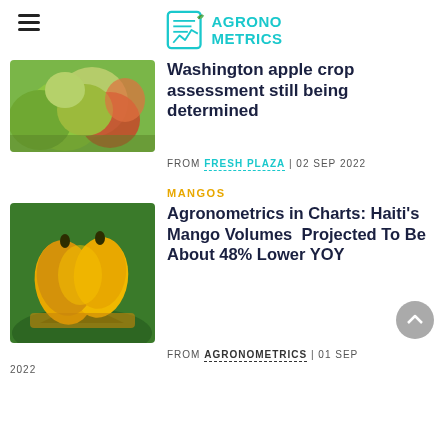AGRONO METRICS
Washington apple crop assessment still being determined
FROM FRESH PLAZA | 02 SEP 2022
MANGOS
Agronometrics in Charts: Haiti's Mango Volumes  Projected To Be About 48% Lower YOY
FROM AGRONOMETRICS | 01 SEP 2022